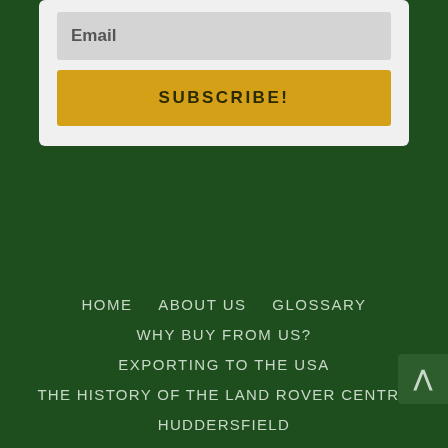[Figure (screenshot): Email subscription form with a light gray email input field labeled 'Email' and a golden yellow 'SUBSCRIBE!' button below it, on a light gray card background.]
HOME
ABOUT US
GLOSSARY
WHY BUY FROM US?
EXPORTING TO THE USA
THE HISTORY OF THE LAND ROVER CENTRE HUDDERSFIELD
HISTORY OF THE LAND ROVER MARQUE
FRIENDS
HOTELS AND GUEST HOUSES
RESOURCES
OUR TEAM
ADMIN